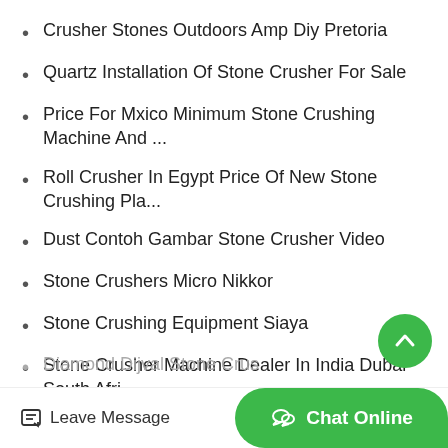Crusher Stones Outdoors Amp Diy Pretoria
Quartz Installation Of Stone Crusher For Sale
Price For Mxico Minimum Stone Crushing Machine And …
Roll Crusher In Egypt Price Of New Stone Crushing Pla…
Dust Contoh Gambar Stone Crusher Video
Stone Crushers Micro Nikkor
Stone Crushing Equipment Siaya
Stone Crusher Machine Dealer In India Dubai South Afri…
Diamond Dijval Stone Crus…